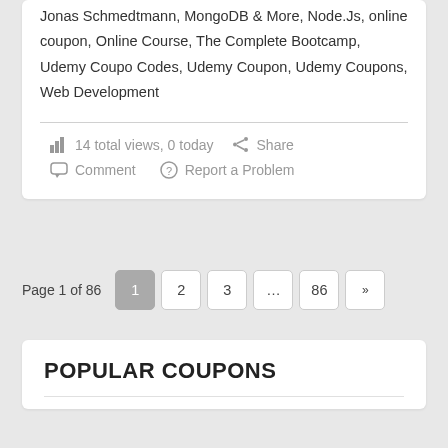Jonas Schmedtmann, MongoDB & More, Node.Js, online coupon, Online Course, The Complete Bootcamp, Udemy Coupo Codes, Udemy Coupon, Udemy Coupons, Web Development
14 total views, 0 today
Share
Comment
Report a Problem
Page 1 of 86
1 2 3 ... 86 »»
POPULAR COUPONS